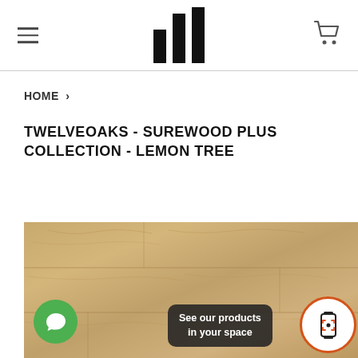Navigation header with logo, hamburger menu, and cart icon
HOME ›
TWELVEOAKS - SUREWOOD PLUS COLLECTION - LEMON TREE
[Figure (photo): Product photo of Lemon Tree wood flooring planks showing light oak grain texture, with a green chat bubble icon on the lower left, a dark 'See our products in your space' AR button in the center-bottom, and a circular AR phone icon on the lower right with an orange border.]